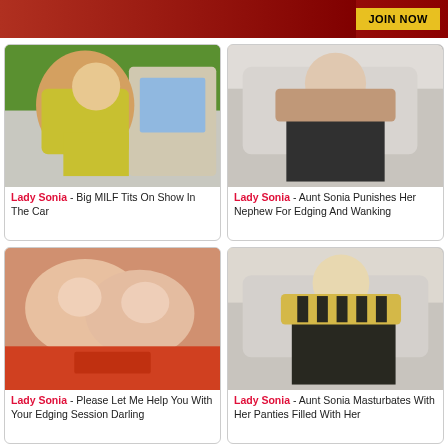[Figure (photo): Banner with JOIN NOW button]
[Figure (photo): Lady Sonia in yellow top in a car]
Lady Sonia - Big MILF Tits On Show In The Car
[Figure (photo): Lady Sonia on a sofa in patterned blouse and black skirt]
Lady Sonia - Aunt Sonia Punishes Her Nephew For Edging And Wanking
[Figure (photo): Close up of hands in red lingerie]
Lady Sonia - Please Let Me Help You With Your Edging Session Darling
[Figure (photo): Lady Sonia on sofa in yellow patterned top]
Lady Sonia - Aunt Sonia Masturbates With Her Panties Filled With Her